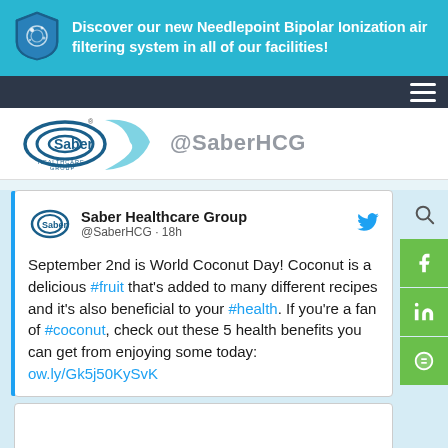Discover our new Needlepoint Bipolar Ionization air filtering system in all of our facilities!
[Figure (logo): Saber Healthcare Group logo with tagline]
@SaberHCG
Saber Healthcare Group @SaberHCG · 18h
September 2nd is World Coconut Day! Coconut is a delicious #fruit that's added to many different recipes and it's also beneficial to your #health. If you're a fan of #coconut, check out these 5 health benefits you can get from enjoying some today: ow.ly/Gk5j50KySvK